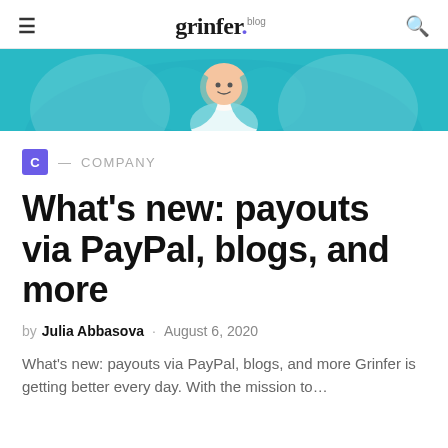grinfer.blog
[Figure (illustration): Partial hero image showing a cartoon illustration on a teal/cyan background — a person figure visible from shoulders up]
C — COMPANY
What's new: payouts via PayPal, blogs, and more
by Julia Abbasova · August 6, 2020
What's new: payouts via PayPal, blogs, and more Grinfer is getting better every day. With the mission to…